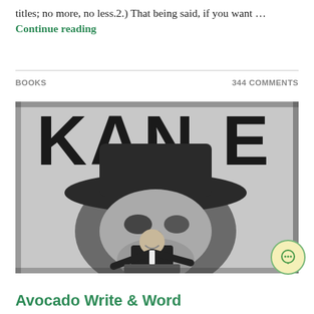titles; no more, no less.2.) That being said, if you want … Continue reading
BOOKS    344 COMMENTS
[Figure (photo): Black and white photo showing a large poster with the word KANE and a person in a suit and hat in front of it]
Avocado Write & Word